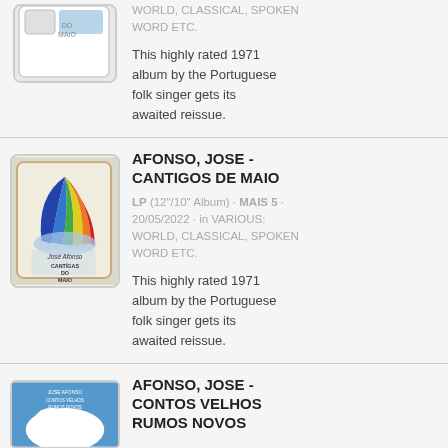[Figure (illustration): Album cover for Cantigos de Maio (partial, top cropped)]
WORLD, CLASSICAL, SPOKEN WORD ETC.
This highly rated 1971 album by the Portuguese folk singer gets its awaited reissue.
[Figure (illustration): Album cover for Afonso Jose - Cantigos de Maio showing colorful fan/hand design]
AFONSO, JOSE - CANTIGOS DE MAIO
LP (12"/10" Album) · MAIS 5 · 20/05/2022 · in VARIOUS: WORLD, CLASSICAL, SPOKEN WORD ETC.
This highly rated 1971 album by the Portuguese folk singer gets its awaited reissue.
[Figure (illustration): Album cover for Afonso Jose - Contos Velhos Rumos Novos, partially visible]
AFONSO, JOSE - CONTOS VELHOS RUMOS NOVOS